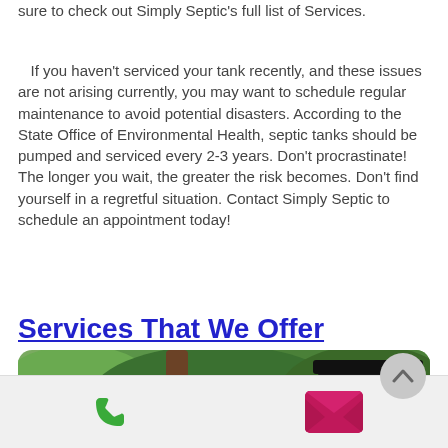sure to check out Simply Septic's full list of Services.
If you haven't serviced your tank recently, and these issues are not arising currently, you may want to schedule regular maintenance to avoid potential disasters. According to the State Office of Environmental Health, septic tanks should be pumped and serviced every 2-3 years. Don't procrastinate! The longer you wait, the greater the risk becomes. Don't find yourself in a regretful situation. Contact Simply Septic to schedule an appointment today!
Services That We Offer
[Figure (photo): Photo of a worker near a tree with heavy equipment cab visible in the background, outdoors with green foliage.]